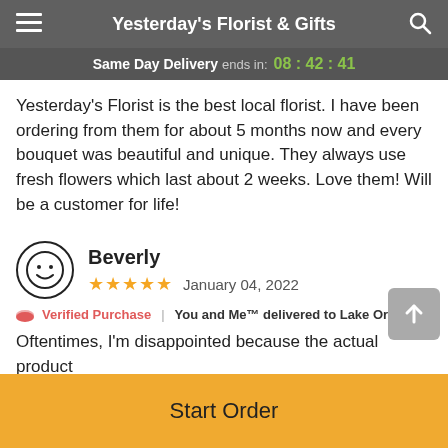Yesterday's Florist & Gifts
Same Day Delivery ends in: 08:42:41
Yesterday's Florist is the best local florist. I have been ordering from them for about 5 months now and every bouquet was beautiful and unique. They always use fresh flowers which last about 2 weeks. Love them! Will be a customer for life!
Beverly
★★★★★  January 04, 2022
🏷 Verified Purchase | You and Me™ delivered to Lake Orion, MI
Oftentimes, I'm disappointed because the actual product
Start Order